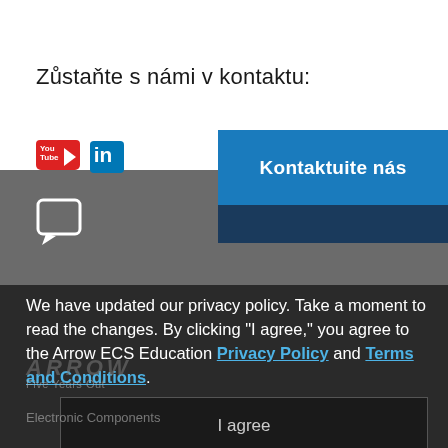Zůstaňte s námi v kontaktu:
[Figure (logo): YouTube and LinkedIn social media icons]
[Figure (other): Blue 'Kontaktuite nás' contact button]
[Figure (other): Chat/speech bubble icon on grey background]
We have updated our privacy policy. Take a moment to read the changes. By clicking "I agree," you agree to the Arrow ECS Education Privacy Policy and Terms and Conditions.
[Figure (other): Arrow watermark text and Five Years Out subtitle]
Podniky
[Figure (other): I agree button]
Electronic Components
Enterprise Computing Solutions
See the short policy